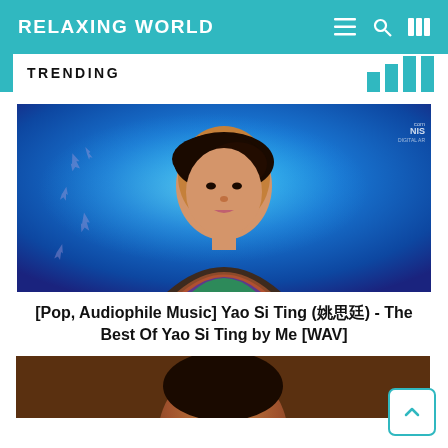RELAXING WORLD
TRENDING
[Figure (photo): Portrait photo of Yao Si Ting against a blue background with purple maple leaf decorations]
[Pop, Audiophile Music] Yao Si Ting (姚思廷) - The Best Of Yao Si Ting by Me [WAV]
[Figure (photo): Partial photo of another person, cropped at bottom of page]